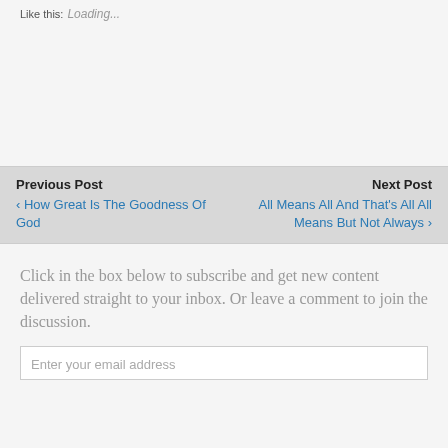Like this:
Loading...
Previous Post
‹ How Great Is The Goodness Of God
Next Post
All Means All And That's All All Means But Not Always ›
Click in the box below to subscribe and get new content delivered straight to your inbox. Or leave a comment to join the discussion.
Enter your email address